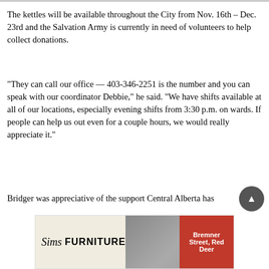The kettles will be available throughout the City from Nov. 16th – Dec. 23rd and the Salvation Army is currently in need of volunteers to help collect donations.
“They can call our office — 403-346-2251 is the number and you can speak with our coordinator Debbie,” he said. “We have shifts available at all of our locations, especially evening shifts from 3:30 p.m. on wards. If people can help us out even for a couple hours, we would really appreciate it.”
Bridger was appreciative of the support Central Alberta has
[Figure (other): Advertisement banner for Sims Furniture, Bremner Street, Red Deer, showing logo with cursive Sims text and FURNITURE in bold, people sitting on a sofa, and address text on red background.]